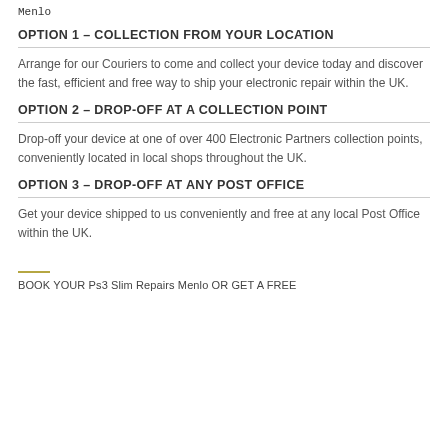Menlo
OPTION 1 – COLLECTION FROM YOUR LOCATION
Arrange for our Couriers to come and collect your device today and discover the fast, efficient and free way to ship your electronic repair within the UK.
OPTION 2 – DROP-OFF AT A COLLECTION POINT
Drop-off your device at one of over 400 Electronic Partners collection points, conveniently located in local shops throughout the UK.
OPTION 3 – DROP-OFF AT ANY POST OFFICE
Get your device shipped to us conveniently and free at any local Post Office within the UK.
BOOK YOUR Ps3 Slim Repairs Menlo OR GET A FREE